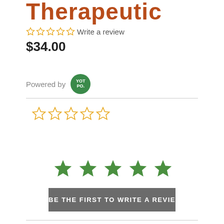Therapeutic
☆☆☆☆☆ Write a review
$34.00
Powered by YOTPO
[Figure (other): Five empty star rating icons in orange/yellow outline]
[Figure (other): Five filled green star icons for rating]
BE THE FIRST TO WRITE A REVIEW